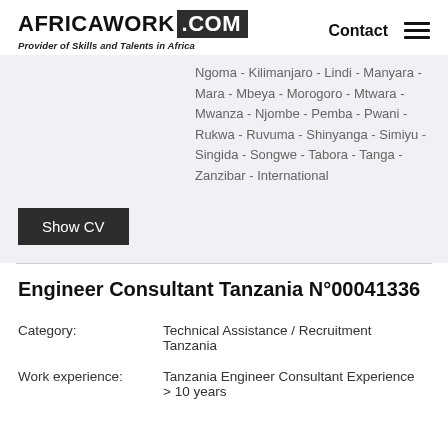AFRICAWORK .COM — Provider of Skills and Talents in Africa — Contact
Ngoma - Kilimanjaro - Lindi - Manyara - Mara - Mbeya - Morogoro - Mtwara - Mwanza - Njombe - Pemba - Pwani - Rukwa - Ruvuma - Shinyanga - Simiyu - Singida - Songwe - Tabora - Tanga - Zanzibar - International
Show CV
Engineer Consultant Tanzania N°00041336
Category: Technical Assistance / Recruitment Tanzania
Work experience: Tanzania Engineer Consultant Experience > 10 years